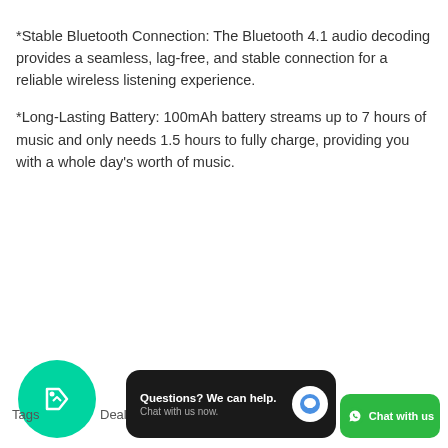*Stable Bluetooth Connection: The Bluetooth 4.1 audio decoding provides a seamless, lag-free, and stable connection for a reliable wireless listening experience.
*Long-Lasting Battery: 100mAh battery streams up to 7 hours of music and only needs 1.5 hours to fully charge, providing you with a whole day’s worth of music.
Tags  Deals | Questions? We can help. Chat with us now. | Chat with us